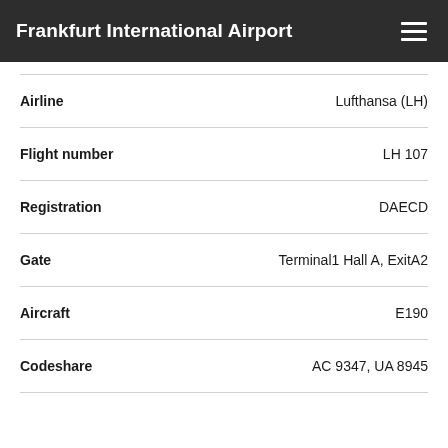Frankfurt International Airport
| Field | Value |
| --- | --- |
| Airline | Lufthansa (LH) |
| Flight number | LH 107 |
| Registration | DAECD |
| Gate | Terminal1 Hall A, ExitA2 |
| Aircraft | E190 |
| Codeshare | AC 9347, UA 8945 |